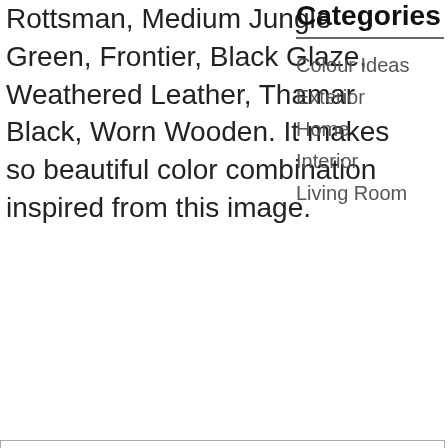Rottsman, Medium Jungle Green, Frontier, Black Glaze, Weathered Leather, Thamar Black, Worn Wooden. It makes so beautiful color combination inspired from this image.
Categories
Colour Ideas
Exterior
Home
Interior
Living Room
| Color | Hex | RGB | Name |
| --- | --- | --- | --- |
| [light swatch] | #d8d8d8 | rgb (216, 216, 216) | Sunny Pavement |
| [dark swatch] | #a8a8a8 | rgb (168, | Uniform Gray |